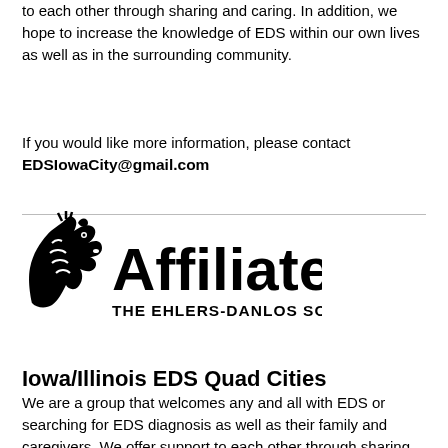to each other through sharing and caring. In addition, we hope to increase the knowledge of EDS within our own lives as well as in the surrounding community.
If you would like more information, please contact EDSIowaCity@gmail.com
[Figure (logo): Affiliate – The Ehlers-Danlos Society logo in black and white, featuring a stylized zebra head next to bold text reading 'Affiliate' and below it 'THE EHLERS-DANLOS SOCIETY.']
Iowa/Illinois EDS Quad Cities
We are a group that welcomes any and all with EDS or searching for EDS diagnosis as well as their family and caregivers. We offer support to each other through sharing and caring, building